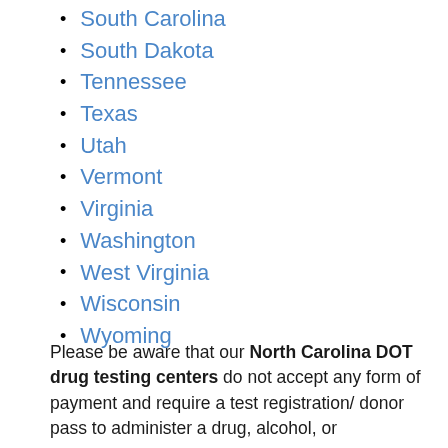South Carolina
South Dakota
Tennessee
Texas
Utah
Vermont
Virginia
Washington
West Virginia
Wisconsin
Wyoming
Please be aware that our North Carolina DOT drug testing centers do not accept any form of payment and require a test registration/ donor pass to administer a drug, alcohol, or